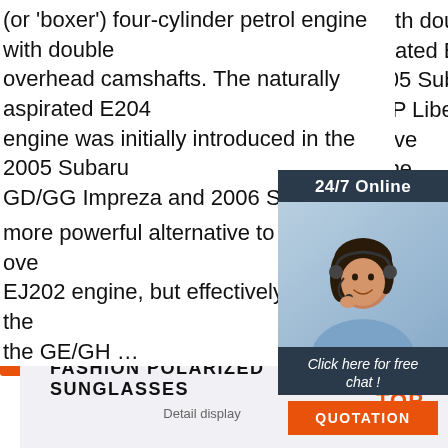(or 'boxer') four-cylinder petrol engine with double overhead camshafts. The naturally aspirated E204 engine was initially introduced in the 2005 Subaru GD/GG Impreza and 2006 Subaru BL/BP Liberty as a more powerful alternative to the single overhead EJ202 engine, but effectively replaced the … the GE/GH …
[Figure (other): Customer service chat widget with '24/7 Online' header, photo of woman with headset, 'Click here for free chat!' text, and orange QUOTATION button]
[Figure (other): Orange 'Get Price' button]
[Figure (other): Advertisement banner for 'FASHION POLARIZED SUNGLASSES' with 'Detail display' subtitle and orange TOP logo with dot triangle]